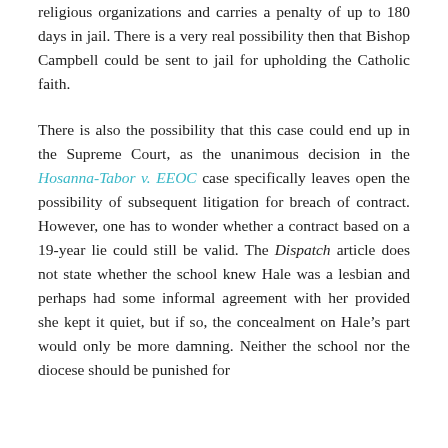religious organizations and carries a penalty of up to 180 days in jail. There is a very real possibility then that Bishop Campbell could be sent to jail for upholding the Catholic faith.
There is also the possibility that this case could end up in the Supreme Court, as the unanimous decision in the Hosanna-Tabor v. EEOC case specifically leaves open the possibility of subsequent litigation for breach of contract. However, one has to wonder whether a contract based on a 19-year lie could still be valid. The Dispatch article does not state whether the school knew Hale was a lesbian and perhaps had some informal agreement with her provided she kept it quiet, but if so, the concealment on Hale’s part would only be more damning. Neither the school nor the diocese should be punished for